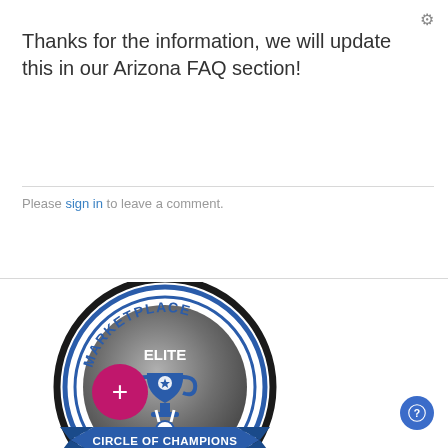Thanks for the information, we will update this in our Arizona FAQ section!
Please sign in to leave a comment.
[Figure (logo): Marketplace Elite Circle of Champions 2022 badge — circular badge with black outer ring, blue inner ring, gray metallic center with a trophy icon and ribbon/medal, blue banner reading CIRCLE OF CHAMPIONS, and -2022- text below.]